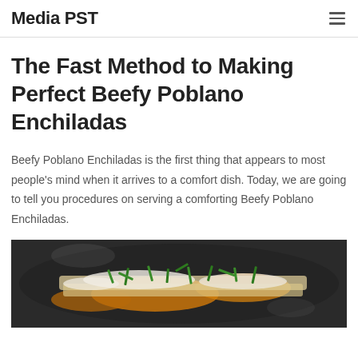Media PST
The Fast Method to Making Perfect Beefy Poblano Enchiladas
Beefy Poblano Enchiladas is the first thing that appears to most people's mind when it arrives to a comfort dish. Today, we are going to tell you procedures on serving a comforting Beefy Poblano Enchiladas.
[Figure (photo): Close-up photo of Beefy Poblano Enchiladas in a dark pan, topped with melted cheese, green onions, and other garnishes]